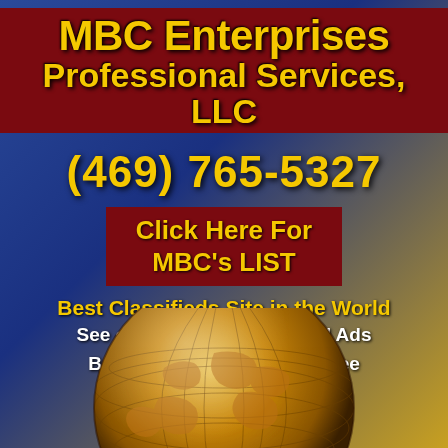MBC Enterprises Professional Services, LLC
(469) 765-5327
Click Here For MBC's LIST
Best Classifieds Site in the World
See or Post Local Classified Ads
Boost Your Business For Free
Meet New People For Free
[Figure (illustration): Golden/bronze globe showing world map continents, bottom portion of the advertisement]